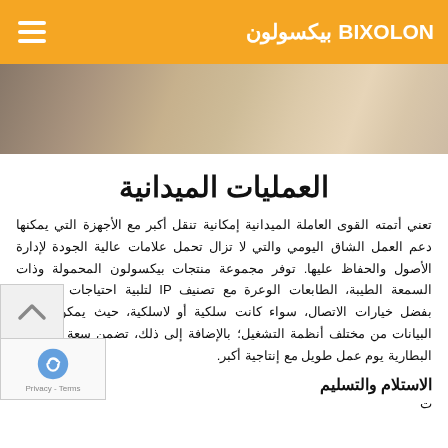بيكسولون BIXOLON
[Figure (photo): Hero image showing a blurred retail/warehouse environment]
العمليات الميدانية
تعني أتمته القوى العاملة الميدانية إمكانية تنقل أكبر مع الأجهزة التي يمكنها دعم العمل الشاق اليومي والتي لا تزال تحمل علامات عالية الجودة لإدارة الأصول والحفاظ عليها. توفر مجموعة منتجات بيكسولون المحمولة وذات السمعة الطيبة، الطابعات الوعرة مع تصنيف IP لتلبية احتياجات الطباعة. بفضل خيارات الاتصال، سواء كانت سلكية أو لاسلكية، حيث يمكن إرسال البيانات من مختلف أنظمة التشغيل؛ بالإضافة إلى ذلك، تضمن سعة الوسائط البطارية يوم عمل طويل مع إنتاجية أكبر.
الاستلام والتسليم